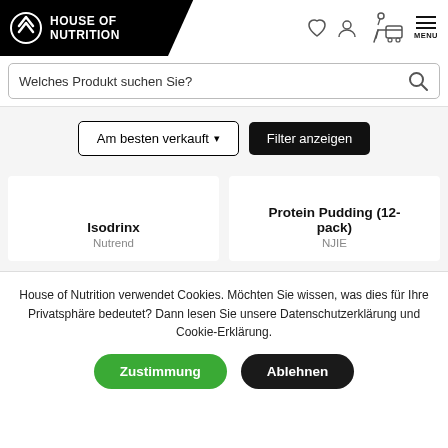[Figure (logo): House of Nutrition logo - white chevron icon on black background with bold white text 'HOUSE OF NUTRITION']
[Figure (screenshot): Navigation icons: heart (wishlist), user profile, shopping cart with person, hamburger menu labeled MENU]
Welches Produkt suchen Sie?
Am besten verkauft▾    Filter anzeigen
Isodrinx
Nutrend
Protein Pudding (12-pack)
NJIE
House of Nutrition verwendet Cookies. Möchten Sie wissen, was dies für Ihre Privatsphäre bedeutet? Dann lesen Sie unsere Datenschutzerklärung und Cookie-Erklärung.
Zustimmung    Ablehnen